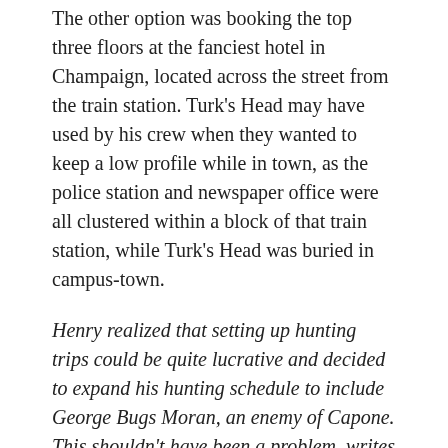The other option was booking the top three floors at the fanciest hotel in Champaign, located across the street from the train station. Turk's Head may have used by his crew when they wanted to keep a low profile while in town, as the police station and newspaper office were all clustered within a block of that train station, while Turk's Head was buried in campus-town.
Henry realized that setting up hunting trips could be quite lucrative and decided to expand his hunting schedule to include George Bugs Moran, an enemy of Capone. This shouldn't have been a problem, writes Hughes, Sansone scheduled Moran and his boys on opposite weekends from when Capone was down.
This would have worked well, except the scheduling was done by word of mouth, and one weekend the dates got mixed up. One particular Saturday when Moran was hunting, three black cars pulled up two